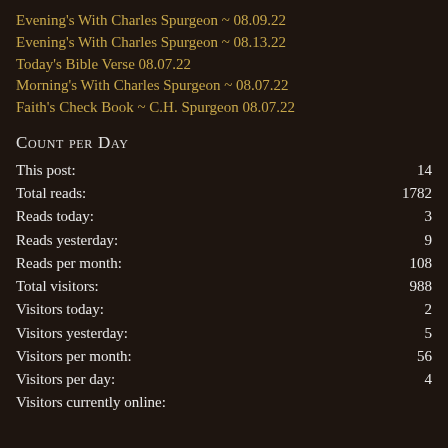Evening's With Charles Spurgeon ~ 08.09.22
Evening's With Charles Spurgeon ~ 08.13.22
Today's Bible Verse 08.07.22
Morning's With Charles Spurgeon ~ 08.07.22
Faith's Check Book ~ C.H. Spurgeon 08.07.22
Count per Day
This post: 14
Total reads: 1782
Reads today: 3
Reads yesterday: 9
Reads per month: 108
Total visitors: 988
Visitors today: 2
Visitors yesterday: 5
Visitors per month: 56
Visitors per day: 4
Visitors currently online: